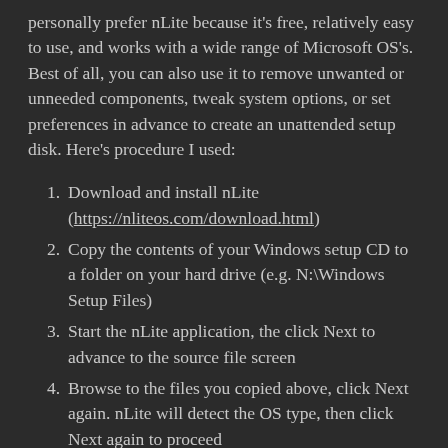personally prefer nLite because it's free, relatively easy to use, and works with a wide range of Microsoft OS's. Best of all, you can also use it to remove unwanted or unneeded components, tweak system options, or set preferences in advance to create an unattended setup disk. Here's procedure I used:
1. Download and install nLite (https://nliteos.com/download.html)
2. Copy the contents of your Windows setup CD to a folder on your hard drive (e.g. N:\Windows Setup Files)
3. Start the nLite application, the click Next to advance to the source file screen
4. Browse to the files you copied above, click Next again. nLite will detect the OS type, then click Next again to proceed
5. The next screen gives you the ability choose a